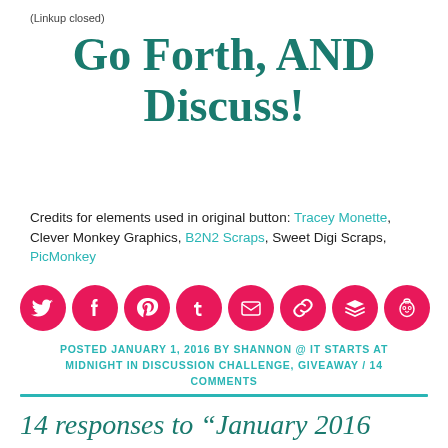(Linkup closed)
Go Forth, And Discuss!
Credits for elements used in original button: Tracey Monette, Clever Monkey Graphics, B2N2 Scraps, Sweet Digi Scraps, PicMonkey
[Figure (other): Row of 8 pink circular social media icons: Twitter, Facebook, Pinterest, Tumblr, Email, Link, Layers/Buffer, Hootsuite owl]
POSTED JANUARY 1, 2016 BY SHANNON @ IT STARTS AT MIDNIGHT IN DISCUSSION CHALLENGE, GIVEAWAY / 14 COMMENTS
14 responses to “January 2016 Discussion Challenge Link Up &